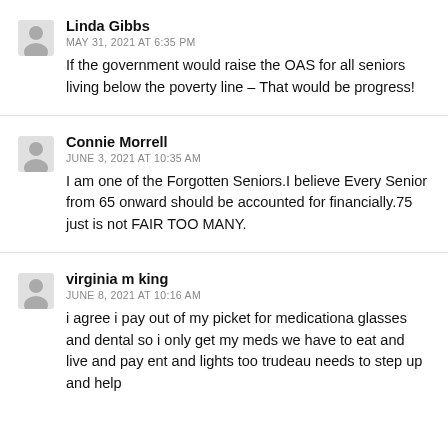Linda Gibbs
MAY 31, 2021 AT 6:35 PM
If the government would raise the OAS for all seniors living below the poverty line – That would be progress!
Connie Morrell
JUNE 3, 2021 AT 10:35 AM
I am one of the Forgotten Seniors.I believe Every Senior from 65 onward should be accounted for financially.75 just is not FAIR TOO MANY.
virginia m king
JUNE 8, 2021 AT 10:16 AM
i agree i pay out of my picket for medicationa glasses and dental so i only get my meds we have to eat and live and pay ent and lights too trudeau needs to step up and help